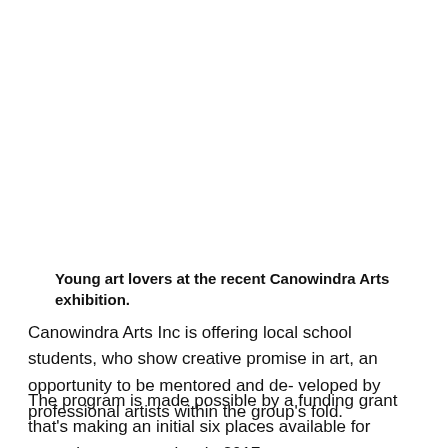Young art lovers at the recent Canowindra Arts exhibition.
Canowindra Arts Inc is offering local school students, who show creative promise in art, an opportunity to be mentored and de- veloped by professional artists within the group's fold.
The program is made possible by a funding grant that's making an initial six places available for emerging young artists in 2017.